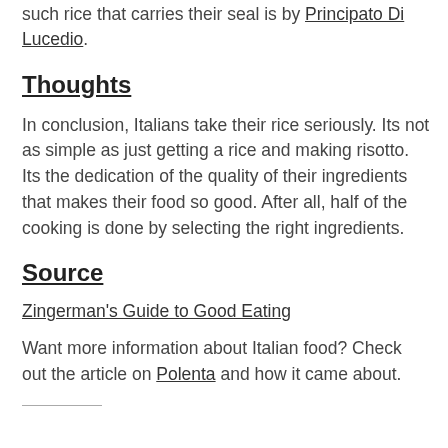such rice that carries their seal is by Principato Di Lucedio.
Thoughts
In conclusion, Italians take their rice seriously. Its not as simple as just getting a rice and making risotto. Its the dedication of the quality of their ingredients that makes their food so good. After all, half of the cooking is done by selecting the right ingredients.
Source
Zingerman's Guide to Good Eating
Want more information about Italian food? Check out the article on Polenta and how it came about.